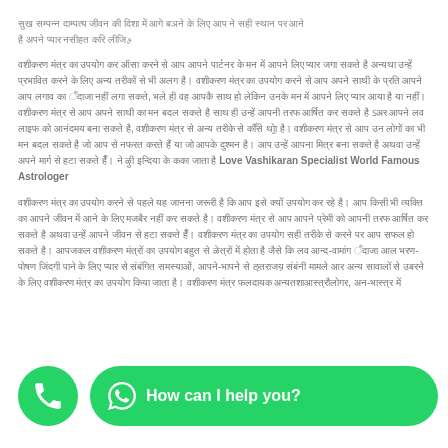[Hindi text block 1 - partial paragraph continuing from previous page about love vashikaran]
[Hindi text block 2 - paragraph about vashikaran specialist with embedded English: Love Vashikaran Specialist World Famous Astrologer]
[Hindi text block 3 - paragraph about astrologer services continuing to bottom of page]
[Figure (other): WhatsApp call button (green circle with phone icon) on the left, and a green rounded chat bubble button saying 'How can I help you?' with WhatsApp icon on the right, overlaid on the bottom of the page.]